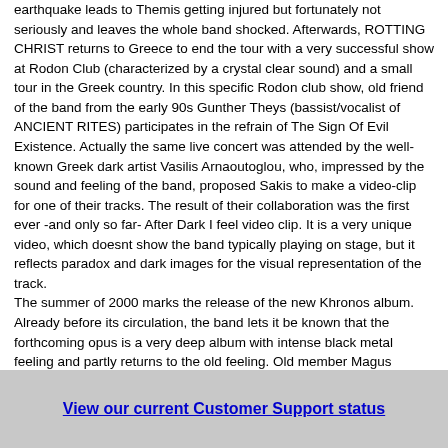earthquake leads to Themis getting injured but fortunately not seriously and leaves the whole band shocked. Afterwards, ROTTING CHRIST returns to Greece to end the tour with a very successful show at Rodon Club (characterized by a crystal clear sound) and a small tour in the Greek country. In this specific Rodon club show, old friend of the band from the early 90s Gunther Theys (bassist/vocalist of ANCIENT RITES) participates in the refrain of The Sign Of Evil Existence. Actually the same live concert was attended by the well-known Greek dark artist Vasilis Arnaoutoglou, who, impressed by the sound and feeling of the band, proposed Sakis to make a video-clip for one of their tracks. The result of their collaboration was the first ever -and only so far- After Dark I feel video clip. It is a very unique video, which doesnt show the band typically playing on stage, but it reflects paradox and dark images for the visual representation of the track.
The summer of 2000 marks the release of the new Khronos album. Already before its circulation, the band lets it be known that the forthcoming opus is a very deep album with intense black metal feeling and partly returns to the old feeling. Old member Magus Wampyr Daoloth was supposed to participate in vocals in some track but it finally never happened due to various technical problems with the latters heavy business program. Indeed, Khronos includes pure black metal tracks like Thou Art Blind, Aeternatus, Glory Of Sadness and in general, the album transcends a black feeling that was more or less absent in Sleep Of The Angels and A dead albums. Recordings took place in the Abyss Studio with Sakis producing the album, in collaboration with Peter Tagtgren from HYPOCRISY. For the record, the initial album title was Chronos 666. This
View our current Customer Support status